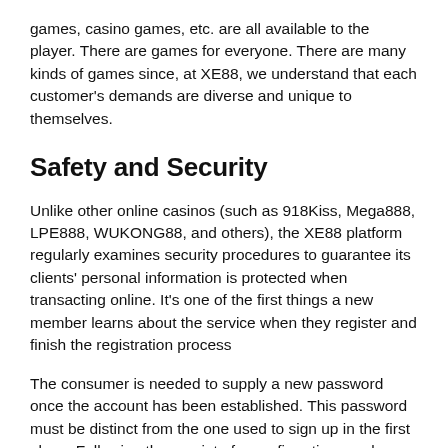games, casino games, etc. are all available to the player. There are games for everyone. There are many kinds of games since, at XE88, we understand that each customer's demands are diverse and unique to themselves.
Safety and Security
Unlike other online casinos (such as 918Kiss, Mega888, LPE888, WUKONG88, and others), the XE88 platform regularly examines security procedures to guarantee its clients' personal information is protected when transacting online. It's one of the first things a new member learns about the service when they register and finish the registration process
The consumer is needed to supply a new password once the account has been established. This password must be distinct from the one used to sign up in the first place. Following the receipt of a confirmation number, the new password will take the place of the prior one.